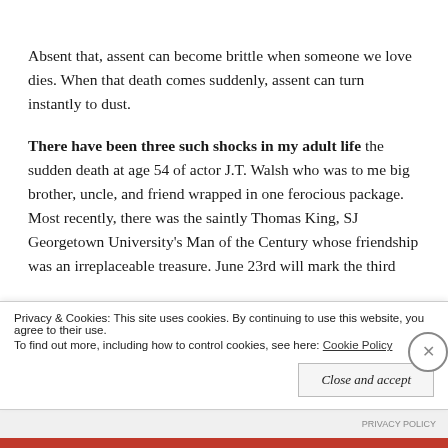Absent that, assent can become brittle when someone we love dies. When that death comes suddenly, assent can turn instantly to dust.
There have been three such shocks in my adult life the sudden death at age 54 of actor J.T. Walsh who was to me big brother, uncle, and friend wrapped in one ferocious package. Most recently, there was the saintly Thomas King, SJ Georgetown University's Man of the Century whose friendship was an irreplaceable treasure. June 23rd will mark the third
Privacy & Cookies: This site uses cookies. By continuing to use this website, you agree to their use. To find out more, including how to control cookies, see here: Cookie Policy